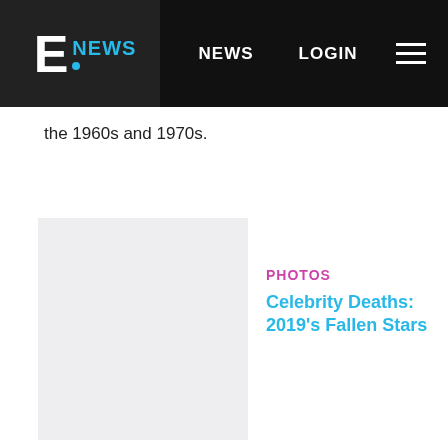E! NEWS   NEWS   LOGIN
the 1960s and 1970s.
[Figure (photo): Placeholder thumbnail image for Celebrity Deaths: 2019's Fallen Stars article]
PHOTOS
Celebrity Deaths: 2019's Fallen Stars